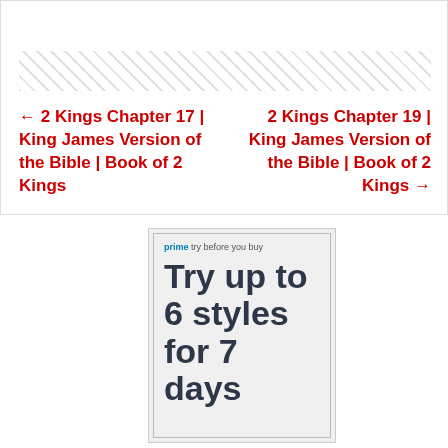[Figure (other): Hatched/diagonal stripe decorative bar]
← 2 Kings Chapter 17 | King James Version of the Bible | Book of 2 Kings
2 Kings Chapter 19 | King James Version of the Bible | Book of 2 Kings →
[Figure (other): Amazon Prime 'Try before you buy' advertisement. Shows 'prime try before you buy' header and large bold text reading 'Try up to 6 styles for 7 days']